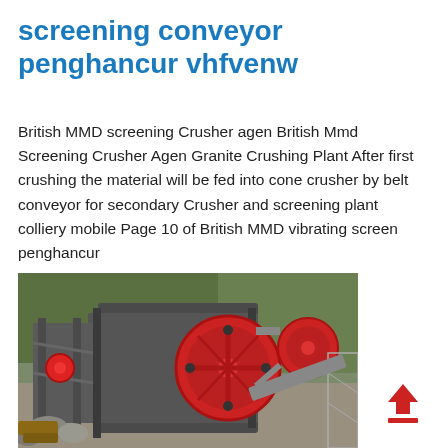screening conveyor penghancur vhfvenw
British MMD screening Crusher agen British Mmd Screening Crusher Agen Granite Crushing Plant After first crushing the material will be fed into cone crusher by belt conveyor for secondary Crusher and screening plant colliery mobile Page 10 of British MMD vibrating screen penghancur
[Figure (photo): Industrial jaw crusher machine with large red flywheel and belt drive system, surrounded by trees and construction equipment at an outdoor mining or quarrying site.]